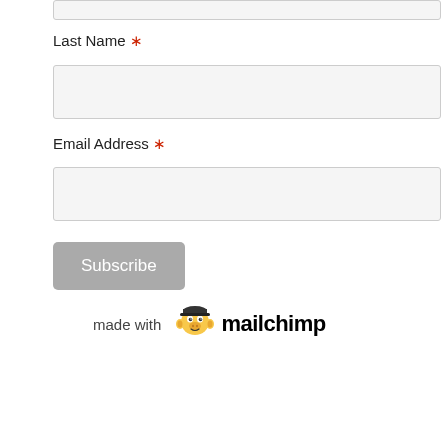Last Name *
[Figure (other): Empty text input field for Last Name]
Email Address *
[Figure (other): Empty text input field for Email Address]
[Figure (other): Subscribe button (gray rounded rectangle)]
[Figure (logo): made with mailchimp logo]